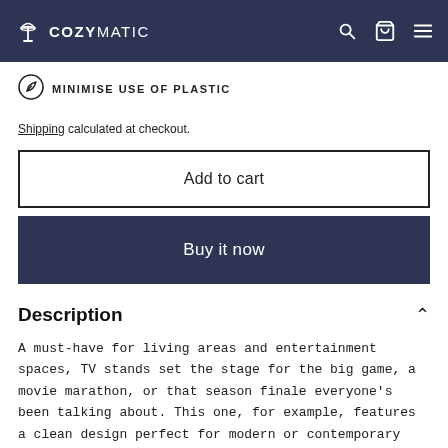COZYMATIC
MINIMISE USE OF PLASTIC
Shipping calculated at checkout.
Add to cart
Buy it now
Description
A must-have for living areas and entertainment spaces, TV stands set the stage for the big game, a movie marathon, or that season finale everyone's been talking about. This one, for example, features a clean design perfect for modern or contemporary aesthetics. With open shelving and three